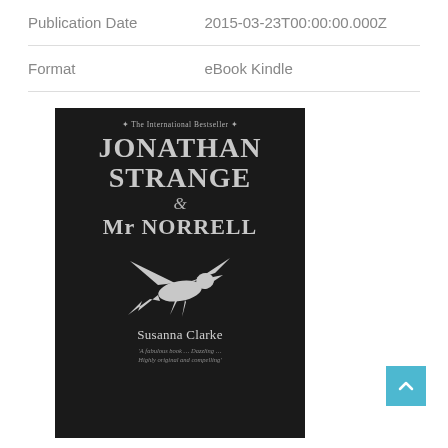|  |  |
| --- | --- |
| Publication Date | 2015-03-23T00:00:00.000Z |
| Format | eBook Kindle |
[Figure (illustration): Book cover of 'Jonathan Strange & Mr Norrell' by Susanna Clarke. Black background with silver/grey text. Shows title 'The International Bestseller', then 'JONATHAN STRANGE & Mr NORRELL', a white/grey silhouette of a bird in flight, author name 'Susanna Clarke', and quote 'A fabulous book ... Dazzling ... Highly original and compelling'.]